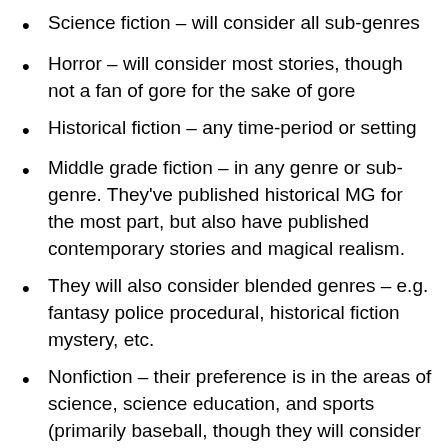Science fiction – will consider all sub-genres
Horror – will consider most stories, though not a fan of gore for the sake of gore
Historical fiction – any time-period or setting
Middle grade fiction – in any genre or sub-genre. They've published historical MG for the most part, but also have published contemporary stories and magical realism.
They will also consider blended genres – e.g. fantasy police procedural, historical fiction mystery, etc.
Nonfiction – their preference is in the areas of science, science education, and sports (primarily baseball, though they will consider